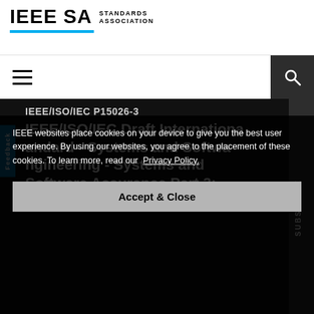[Figure (logo): IEEE SA Standards Association logo with blue underline bar]
[Figure (illustration): Navigation bar with hamburger menu on left and search icon on dark background on right]
IEEE/ISO/IEC P15026-3
IEEE/ISO/IEC Draft International Standard - Systems and Software Engineering - Systems and Software Assurance Part 3: System Integrity Levels
IEEE websites place cookies on your device to give you the best user experience. By using our websites, you agree to the placement of these cookies. To learn more, read our Privacy Policy.
Accept & Close
Purchase this Draft